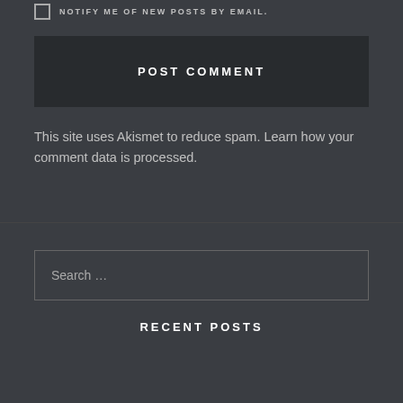NOTIFY ME OF NEW POSTS BY EMAIL.
POST COMMENT
This site uses Akismet to reduce spam. Learn how your comment data is processed.
Search …
RECENT POSTS